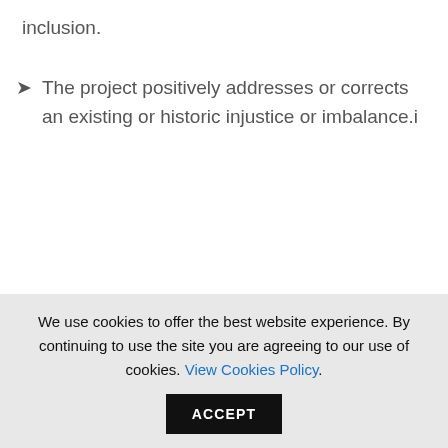inclusion.
The project positively addresses or corrects an existing or historic injustice or imbalance.i
i http://onenyc.cityofnewyork.us/reports-resources/
ii https://www1.nyc.gov/site/ddc/about/ddc-strategic-plan.page iii https://sustainableinfrastructure.org/envision/i
We use cookies to offer the best website experience. By continuing to use the site you are agreeing to our use of cookies. View Cookies Policy. ACCEPT